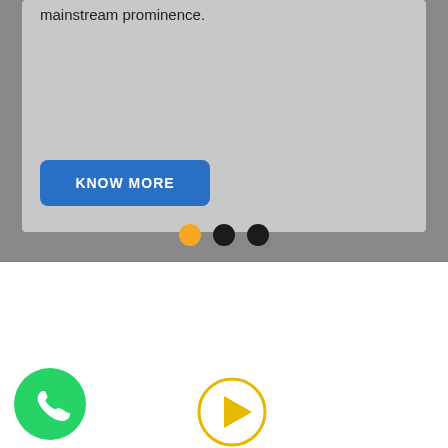mainstream prominence.
[Figure (other): KNOW MORE button - blue rounded rectangle with white bold text]
[Figure (other): Carousel pagination dots: orange filled circle (active), black filled circle, black filled circle]
[Figure (other): WhatsApp logo - green circle with white phone handset icon]
[Figure (other): Play button - yellow/gold outlined circle with right-pointing triangle inside]